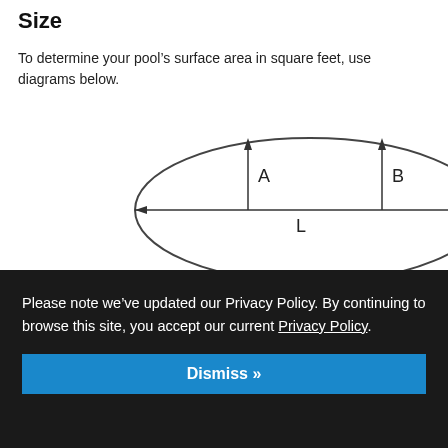Size
To determine your pool’s surface area in square feet, use diagrams below.
[Figure (engineering-diagram): Oval/stadium shaped pool diagram with labeled dimensions: A (left inner height arrow), B (right inner height arrow), and L (full width horizontal arrow with arrowheads on both ends). Two vertical lines inside the oval mark the endpoints of the L dimension.]
Please note we’ve updated our Privacy Policy. By continuing to browse this site, you accept our current Privacy Policy.
[Figure (engineering-diagram): Partial bottom diagram showing a rectangular shape with an arrow pointing right, partially hidden behind the privacy banner.]